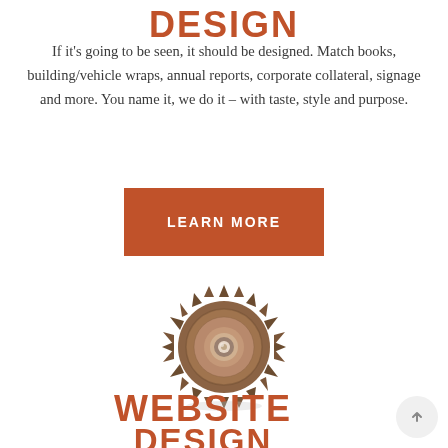DESIGN
If it's going to be seen, it should be designed. Match books, building/vehicle wraps, annual reports, corporate collateral, signage and more. You name it, we do it – with taste, style and purpose.
[Figure (other): Orange/brown rectangular button with text LEARN MORE in white uppercase letters]
[Figure (photo): A circular saw blade / gear tool photographed from above against a white background, metallic with teeth around the edge and a bolt in the center]
WEBSITE DESIGN